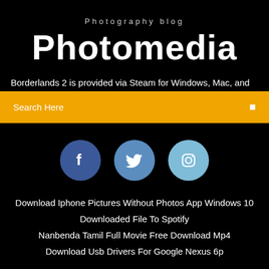Photography blog
Photomedia
Borderlands 2 is provided via Steam for Windows, Mac, and
Search Here
[Figure (infographic): Three social media icon circles: Facebook (dark blue), Twitter (medium blue), Instagram (light blue)]
Download Iphone Pictures Without Photos App Windows 10
Downloaded File To Spotify
Nanbenda Tamil Full Movie Free Download Mp4
Download Usb Drivers For Google Nexus 6p